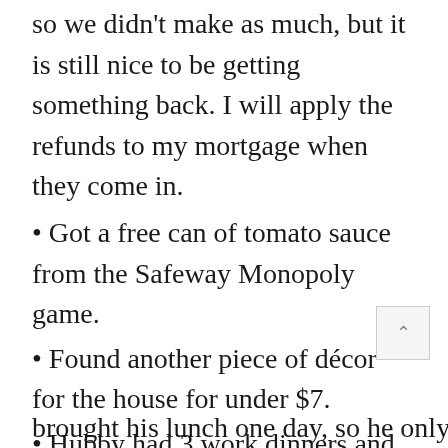so we didn't make as much, but it is still nice to be getting something back. I will apply the refunds to my mortgage when they come in.
Got a free can of tomato sauce from the Safeway Monopoly game.
Found another piece of décor for the house for under $7.
Hubby had 3 work dinners and lunches. I just ate food that I had frozen as individual servings those nights. He brought his lunch one day, so he only ate...